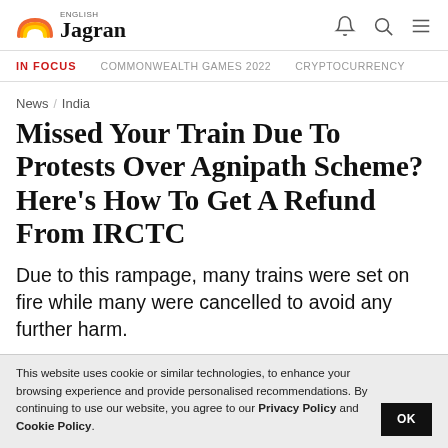English Jagran
IN FOCUS   COMMONWEALTH GAMES 2022   CRYPTOCURRENCY
News / India
Missed Your Train Due To Protests Over Agnipath Scheme? Here's How To Get A Refund From IRCTC
Due to this rampage, many trains were set on fire while many were cancelled to avoid any further harm.
This website uses cookie or similar technologies, to enhance your browsing experience and provide personalised recommendations. By continuing to use our website, you agree to our Privacy Policy and Cookie Policy. OK